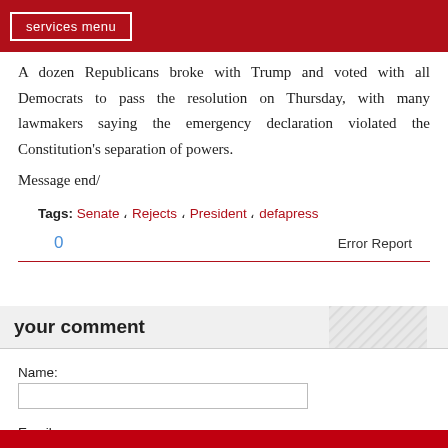services menu
A dozen Republicans broke with Trump and voted with all Democrats to pass the resolution on Thursday, with many lawmakers saying the emergency declaration violated the Constitution's separation of powers.
Message end/
Tags: Senate , Rejects , President , defapress
0   Error Report
your comment
Name:
Email: